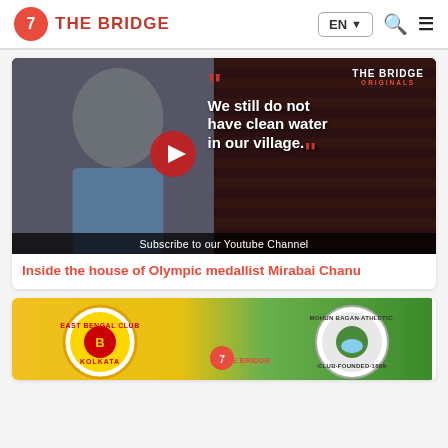THE BRIDGE
[Figure (screenshot): Video thumbnail showing Indian weightlifter Mirabai Chanu being interviewed, with a quote overlay reading 'We still do not have clean water in our village.' in white bold text with red quotation marks. THE BRIDGE ORIGINALS watermark top right. Subscribe to our Youtube Channel bar at bottom. Red play button center.]
Inside the house of Olympic medallist Mirabai Chanu
[Figure (screenshot): Partial video thumbnail showing East Bengal Club and Mohun Bagan Athletic Club logos with The Bridge branding, on a yellow/green background.]